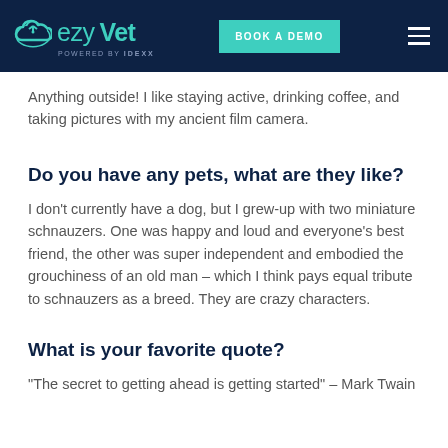ezyVet — BOOK A DEMO
Anything outside! I like staying active, drinking coffee, and taking pictures with my ancient film camera.
Do you have any pets, what are they like?
I don't currently have a dog, but I grew-up with two miniature schnauzers. One was happy and loud and everyone's best friend, the other was super independent and embodied the grouchiness of an old man – which I think pays equal tribute to schnauzers as a breed. They are crazy characters.
What is your favorite quote?
"The secret to getting ahead is getting started" – Mark Twain